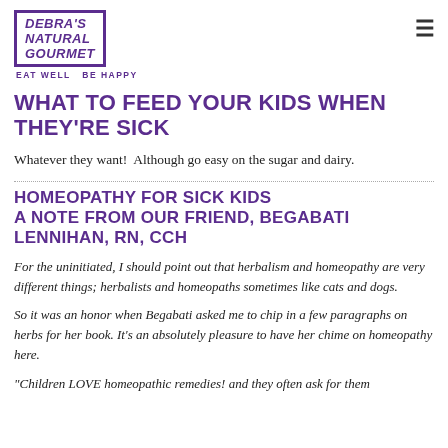[Figure (logo): Debra's Natural Gourmet logo with purple border box, stylized text and tagline 'EAT WELL BE HAPPY']
WHAT TO FEED YOUR KIDS WHEN THEY'RE SICK
Whatever they want!  Although go easy on the sugar and dairy.
HOMEOPATHY FOR SICK KIDS A NOTE FROM OUR FRIEND, BEGABATI LENNIHAN, RN, CCH
For the uninitiated, I should point out that herbalism and homeopathy are very different things; herbalists and homeopaths sometimes like cats and dogs.
So it was an honor when Begabati asked me to chip in a few paragraphs on herbs for her book. It's an absolutely pleasure to have her chime on homeopathy here.
"Children LOVE homeopathic remedies! and they often ask for them